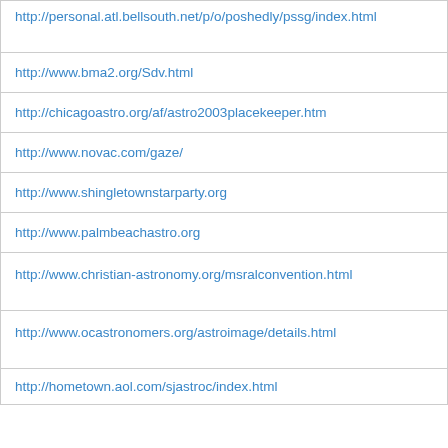| http://personal.atl.bellsouth.net/p/o/poshedly/pssg/index.html |
| http://www.bma2.org/Sdv.html |
| http://chicagoastro.org/af/astro2003placekeeper.htm |
| http://www.novac.com/gaze/ |
| http://www.shingletownstarparty.org |
| http://www.palmbeachastro.org |
| http://www.christian-astronomy.org/msralconvention.html |
| http://www.ocastronomers.org/astroimage/details.html |
| http://hometown.aol.com/sjastroc/index.html |